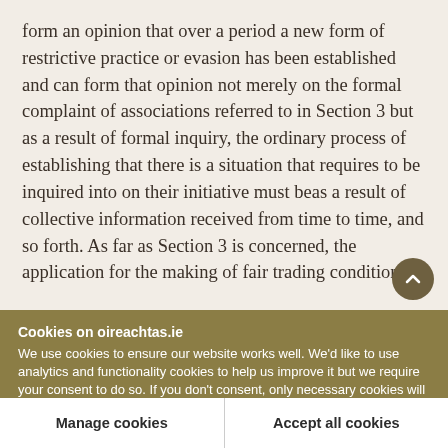form an opinion that over a period a new form of restrictive practice or evasion has been established and can form that opinion not merely on the formal complaint of associations referred to in Section 3 but as a result of formal inquiry, the ordinary process of establishing that there is a situation that requires to be inquired into on their initiative must beas a result of collective information received from time to time, and so forth. As far as Section 3 is concerned, the application for the making of fair trading conditions
Cookies on oireachtas.ie
We use cookies to ensure our website works well. We'd like to use analytics and functionality cookies to help us improve it but we require your consent to do so. If you don't consent, only necessary cookies will be used. Read more about our cookies
Manage cookies
Accept all cookies